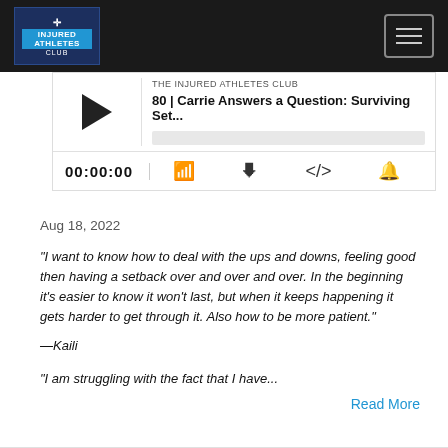[Figure (screenshot): Podcast player header with Injured Athletes Club logo and hamburger menu]
THE INJURED ATHLETES CLUB
80 | Carrie Answers a Question: Surviving Set...
00:00:00
Aug 18, 2022
“I want to know how to deal with the ups and downs, feeling good then having a setback over and over and over. In the beginning it’s easier to know it won’t last, but when it keeps happening it gets harder to get through it. Also how to be more patient.”
—Kaili
“I am struggling with the fact that I have...
Read More